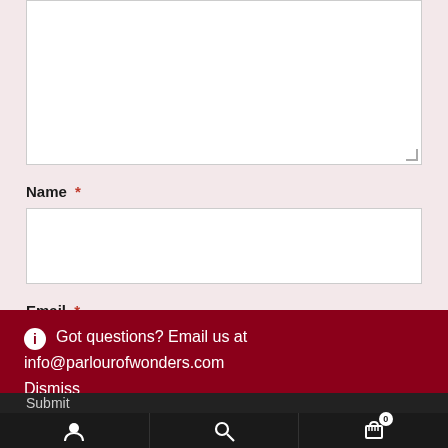Name *
Email *
Got questions? Email us at info@parlourofwonders.com
Dismiss
Submit
[Figure (screenshot): Bottom navigation bar with user account icon, search icon, and shopping cart icon with badge showing 0]